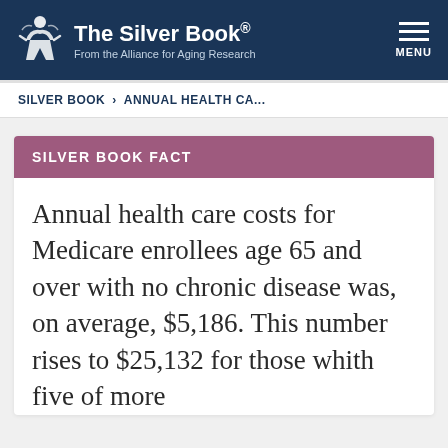The Silver Book® From the Alliance for Aging Research
SILVER BOOK > ANNUAL HEALTH CA...
SILVER BOOK FACT
Annual health care costs for Medicare enrollees age 65 and over with no chronic disease was, on average, $5,186.  This number rises to $25,132 for those whith five of more